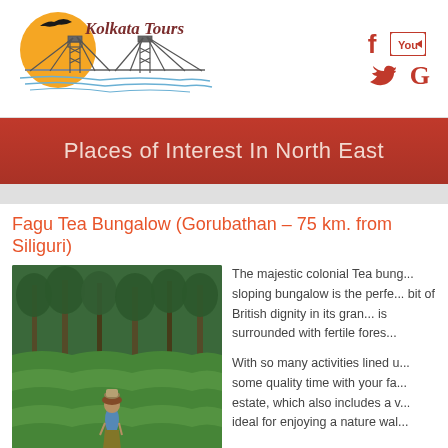[Figure (logo): Kolkata Tours logo with Howrah Bridge illustration and golden sun with bird]
[Figure (illustration): Social media icons: Facebook, YouTube, Twitter, Google+]
Places of Interest In North East
Fagu Tea Bungalow (Gorubathan – 75 km. from Siliguri)
[Figure (photo): Tea garden photo with a worker walking through lush green tea plantation rows with trees in background]
The majestic colonial Tea bung... sloping bungalow is the perfe... bit of British dignity in its gran... is surrounded with fertile fores...
With so many activities lined u... some quality time with your fa... estate, which also includes a v... ideal for enjoying a nature wal...